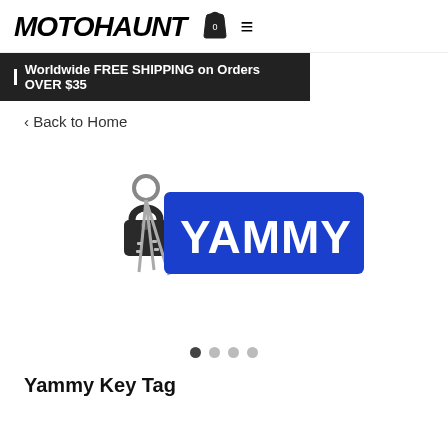MOTOHAUNT
Worldwide FREE SHIPPING on Orders OVER $35
< Back to Home
[Figure (photo): Product image showing a blue rectangular key tag with 'YAMMY' text in white bold letters, alongside a set of keys with a padlock keychain.]
Yammy Key Tag